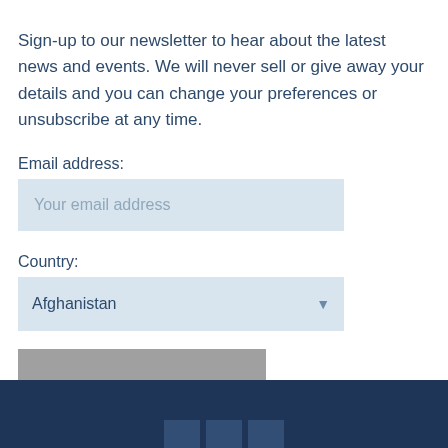Sign-up to our newsletter to hear about the latest news and events. We will never sell or give away your details and you can change your preferences or unsubscribe at any time.
Email address:
Your email address
Country:
Afghanistan
SIGN UP